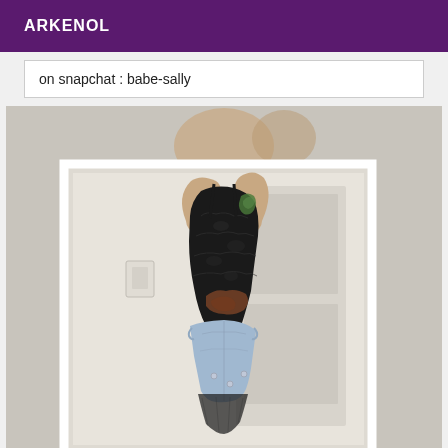ARKENOL
on snapchat : babe-sally
[Figure (photo): A person photographed from behind, wearing a black lace top and light blue denim shorts, with a tattoo visible on their back, standing in a room. An inner framed photo is visible within the outer photo.]